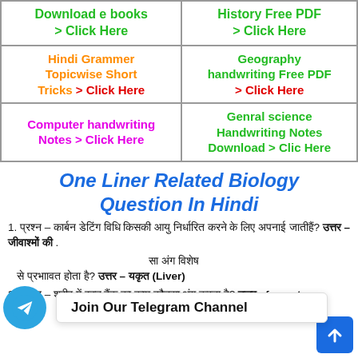| Col1 | Col2 |
| --- | --- |
| Download e books > Click Here | History  Free PDF > Click Here |
| Hindi Grammer Topicwise Short Tricks > Click Here | Geography handwriting Free PDF > Click Here |
| Computer handwriting Notes > Click Here | Genral science Handwriting Notes Download > Clic Here |
One Liner Related Biology Question In Hindi
1. प्रश्न – कार्बन डेटिंग विधि किसकी आयु निर्धारित करने के लिए अपनाई जातीहै? उत्तर – जीवाश्मों की .
2. प्रश्न – [partial, obscured] सा अंग विशेष से प्रभाावत होता है? उत्तर – यकृत (Liver)
3. प्रश्न – शरीर में रक्त बैंक का काम कौनसा अंग करता है? उत्तर –fament